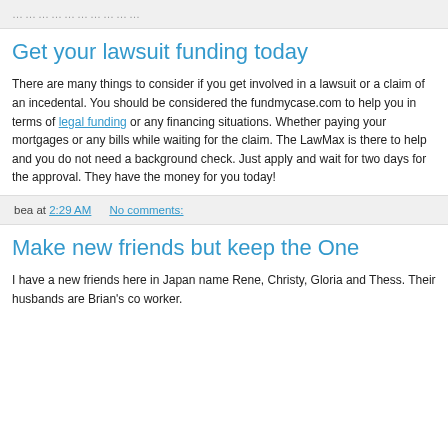......................
Get your lawsuit funding today
There are many things to consider if you get involved in a lawsuit or a claim of an incedental. You should be considered the fundmycase.com to help you in terms of legal funding or any financing situations. Whether paying your mortgages or any bills while waiting for the claim. The LawMax is there to help and you do not need a background check. Just apply and wait for two days for the approval. They have the money for you today!
bea at 2:29 AM    No comments:
Make new friends but keep the One
I have a new friends here in Japan name Rene, Christy, Gloria and Thess. Their husbands are Brian's co worker.